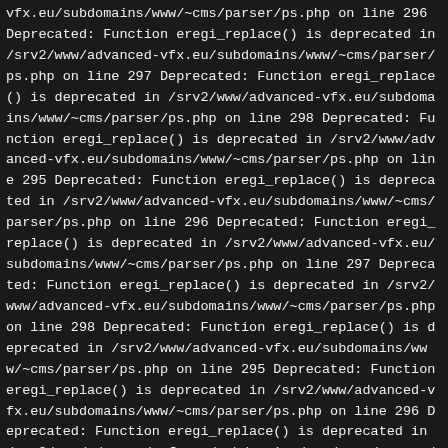vfx.eu/subdomains/www/~cms/parser/ps.php on line 296 Deprecated: Function eregi_replace() is deprecated in /srv2/www/advanced-vfx.eu/subdomains/www/~cms/parser/ps.php on line 297 Deprecated: Function eregi_replace() is deprecated in /srv2/www/advanced-vfx.eu/subdomains/www/~cms/parser/ps.php on line 298 Deprecated: Function eregi_replace() is deprecated in /srv2/www/advanced-vfx.eu/subdomains/www/~cms/parser/ps.php on line 295 Deprecated: Function eregi_replace() is deprecated in /srv2/www/advanced-vfx.eu/subdomains/www/~cms/parser/ps.php on line 296 Deprecated: Function eregi_replace() is deprecated in /srv2/www/advanced-vfx.eu/subdomains/www/~cms/parser/ps.php on line 297 Deprecated: Function eregi_replace() is deprecated in /srv2/www/advanced-vfx.eu/subdomains/www/~cms/parser/ps.php on line 298 Deprecated: Function eregi_replace() is deprecated in /srv2/www/advanced-vfx.eu/subdomains/www/~cms/parser/ps.php on line 295 Deprecated: Function eregi_replace() is deprecated in /srv2/www/advanced-vfx.eu/subdomains/www/~cms/parser/ps.php on line 296 Deprecated: Function eregi_replace() is deprecated in /srv2/www/advanced-vfx.eu/subdomains/www/~cms/parser/ps.php on line 297 Deprecated: Function eregi_replace() is deprecated in /srv2/www/advanced-vfx.eu/subdomains/www/~cms/parser/ps.php on line 298 Deprecated: Function eregi_replace() is deprecated in /srv2/www/advanced-vfx.eu/subdomains/www/~cms/parser/ps.php on line 295 Deprecated: Function eregi_replace() is deprecated in /srv2/www/advanced-vfx.eu/subdomains/www/~cms/parser/ps.php on line 295 Deprecated: Function eregi_replace() is deprecated in /srv2/www/advanced-